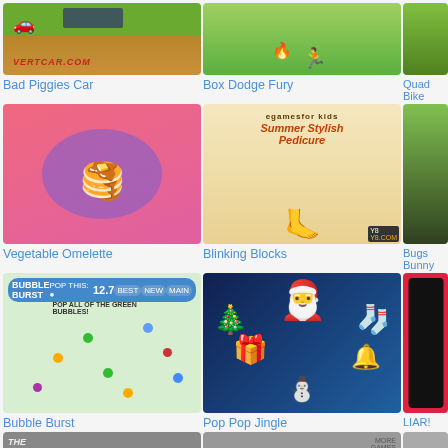[Figure (screenshot): Bad Piggies Car game screenshot - side-scrolling vehicle game]
Bad Piggies Car
[Figure (screenshot): Box Dodge Fury game screenshot - stickman dodging boxes]
Box Dodge Fury
[Figure (screenshot): Quad Bike game screenshot - partially visible]
Quad Bike
[Figure (screenshot): Vegetable Omelette game screenshot - food cooking game with omelette on plate]
Vegetable Omelette
[Figure (screenshot): Summer Stylish Pedicure game screenshot - pedicure/nail game]
Blinking Blocks
[Figure (screenshot): Bugs Bunny game screenshot - partially visible]
Bugs Bunny
[Figure (screenshot): Bubble Burst game screenshot - bubble popping game]
Bubble Burst
[Figure (screenshot): Pop Pop Jingle game screenshot - Christmas themed match game]
Pop Pop Jingle
[Figure (screenshot): LIAR! game screenshot - partially visible red mobile app]
LIAR!
[Figure (screenshot): The Graveberry game screenshot - partially visible]
[Figure (screenshot): Panda game screenshot - partially visible]
[Figure (screenshot): Unknown game screenshot - partially visible]